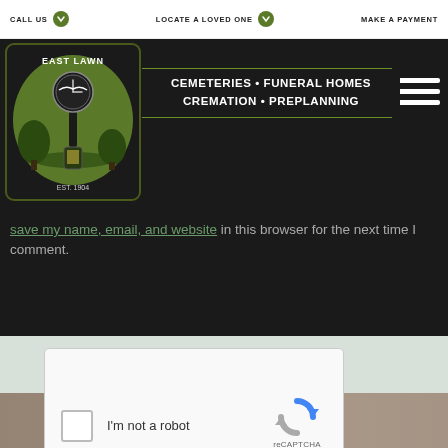CALL US   LOCATE A LOVED ONE   MAKE A PAYMENT
[Figure (logo): East Lawn Cemeteries, Funeral Homes, Cremation, Preplanning logo with clock and lantern graphic]
Save my name, email, and website in this browser for the next time I comment.
[Figure (screenshot): reCAPTCHA widget with checkbox labeled I'm not a robot, reCAPTCHA logo, Privacy and Terms links]
SEND